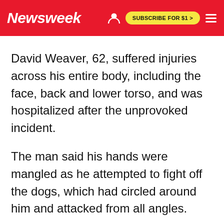Newsweek | SUBSCRIBE FOR $1 >
David Weaver, 62, suffered injuries across his entire body, including the face, back and lower torso, and was hospitalized after the unprovoked incident.
The man said his hands were mangled as he attempted to fight off the dogs, which had circled around him and attacked from all angles.